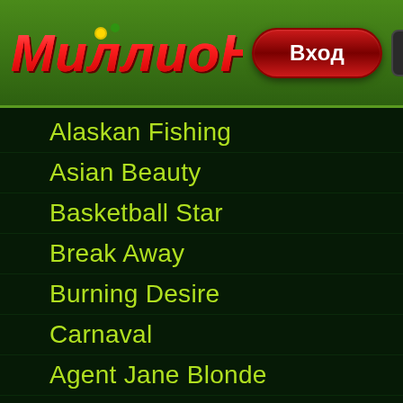Миллионь — Вход
Alaskan Fishing
Asian Beauty
Basketball Star
Break Away
Burning Desire
Carnaval
Agent Jane Blonde
Cashville
Centre Court